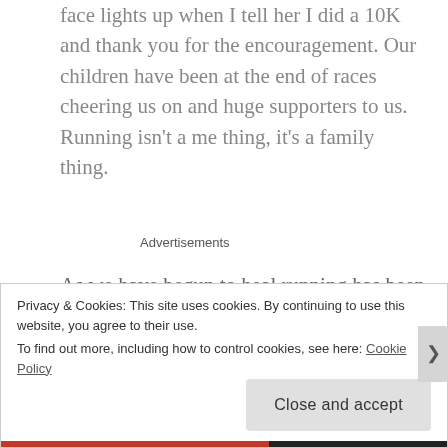face lights up when I tell her I did a 10K and thank you for the encouragement. Our children have been at the end of races cheering us on and huge supporters to us. Running isn't a me thing, it's a family thing.
Advertisements
As we have begun to heal running has been a big part. We have gone from walking to running physically, as well as emotionally and spiritually. When emotionally I was struggling, physically I was learning to push my body
Privacy & Cookies: This site uses cookies. By continuing to use this website, you agree to their use.
To find out more, including how to control cookies, see here: Cookie Policy
Close and accept